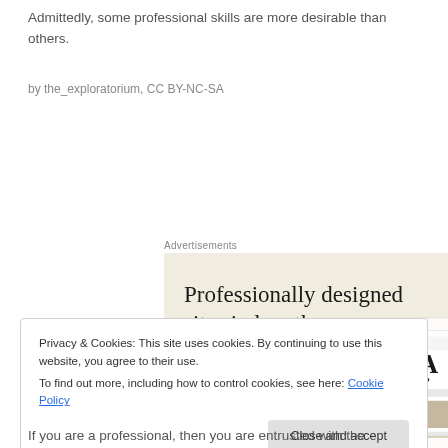Admittedly, some professional skills are more desirable than others.
by the_exploratorium, CC BY-NC-SA
[Figure (screenshot): Advertisement banner: 'Professionally designed sites in less than a week' with green 'Explore options' button and website screenshot mockups on a beige background.]
Privacy & Cookies: This site uses cookies. By continuing to use this website, you agree to their use.
To find out more, including how to control cookies, see here: Cookie Policy
If you are a professional, then you are entrusted with the